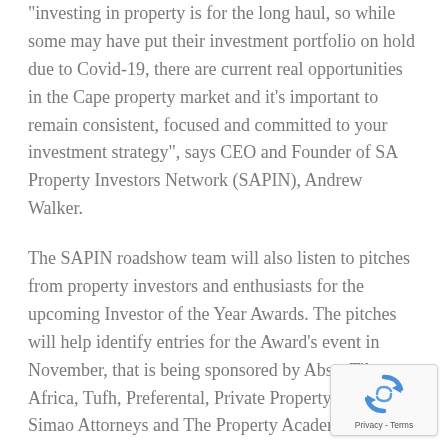“investing in property is for the long haul, so while some may have put their investment portfolio on hold due to Covid-19, there are current real opportunities in the Cape property market and it’s important to remain consistent, focused and committed to your investment strategy”, says CEO and Founder of SA Property Investors Network (SAPIN), Andrew Walker.
The SAPIN roadshow team will also listen to pitches from property investors and enthusiasts for the upcoming Investor of the Year Awards. The pitches will help identify entries for the Award’s event in November, that is being sponsored by Absa, Tile Africa, Tufh, Preferental, Private Property, Bruno Simao Attorneys and The Property Academy.
Members of the public attending the roadshow event Thursday evening will hear talks and presentations from